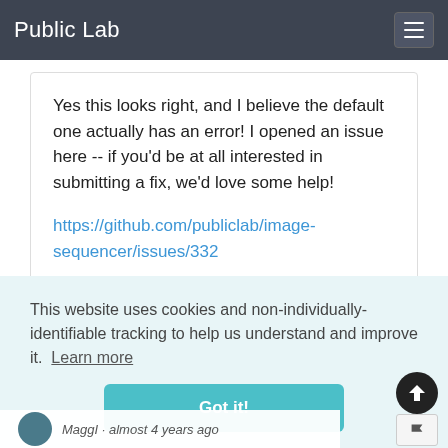Public Lab
Yes this looks right, and I believe the default one actually has an error! I opened an issue here -- if you'd be at all interested in submitting a fix, we'd love some help!
https://github.com/publiclab/image-sequencer/issues/332
This website uses cookies and non-individually-identifiable tracking to help us understand and improve it.  Learn more
Got it!
MaggI · almost 4 years ago